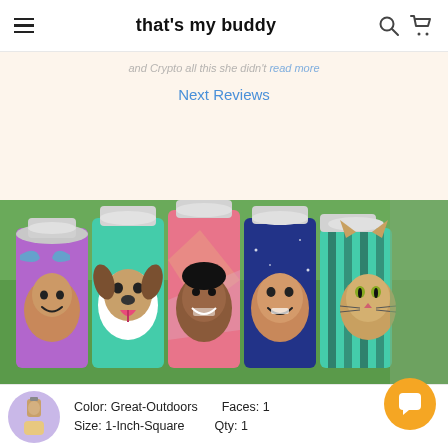that's my buddy
and Crypto all this she didn't read more
Next Reviews
[Figure (photo): Five slim can koozies side by side with custom face photos printed on them — a baby, a dog, a young man, a toddler, and a cat — set against a green outdoor background.]
Color: Great-Outdoors   Faces: 1
Size: 1-Inch-Square   Qty: 1